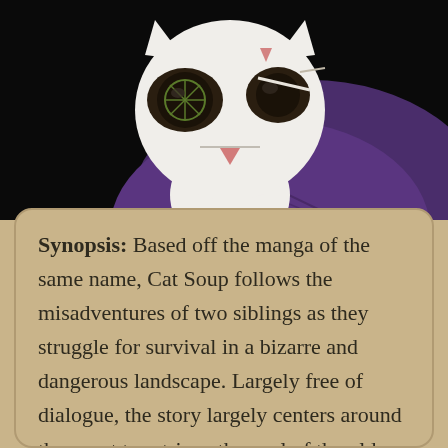[Figure (illustration): Anime/manga style illustration of a white cat-like character with dark eye markings containing a circular symbol, wearing a dark purple cloak/cape, set against a black background.]
Synopsis: Based off the manga of the same name, Cat Soup follows the misadventures of two siblings as they struggle for survival in a bizarre and dangerous landscape. Largely free of dialogue, the story largely centers around the quest to retrieve the soul of the older sibling. However, the abstract approach makes for a film open to interpretation as well as a free form approach to storytelling.